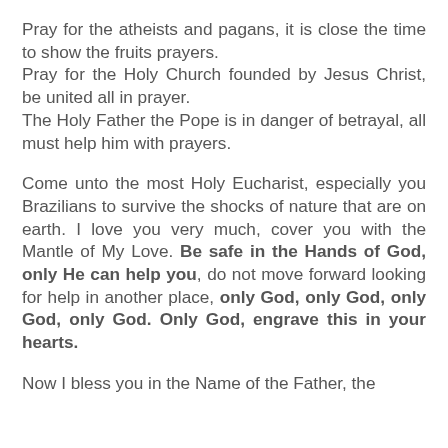Pray for the atheists and pagans, it is close the time to show the fruits prayers. Pray for the Holy Church founded by Jesus Christ, be united all in prayer. The Holy Father the Pope is in danger of betrayal, all must help him with prayers.
Come unto the most Holy Eucharist, especially you Brazilians to survive the shocks of nature that are on earth. I love you very much, cover you with the Mantle of My Love. Be safe in the Hands of God, only He can help you, do not move forward looking for help in another place, only God, only God, only God, only God. Only God, engrave this in your hearts.
Now I bless you in the Name of the Father, the